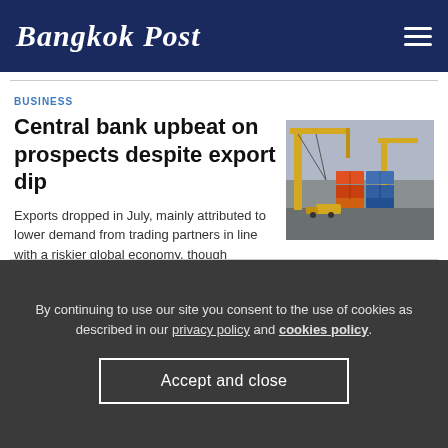Bangkok Post
BUSINESS
Central bank upbeat on prospects despite export dip
Exports dropped in July, mainly attributed to lower demand from trading partners in line with a riskier global economy, though Thailand's economy continues to see signs of recovery.
[Figure (photo): Container port with yellow cranes and stacked shipping containers]
06:48
By continuing to use our site you consent to the use of cookies as described in our privacy policy and cookies policy.
Accept and close